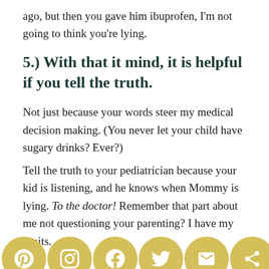ago, but then you gave him ibuprofen, I'm not going to think you're lying.
5.) With that it mind, it is helpful if you tell the truth.
Not just because your words steer my medical decision making. (You never let your child have sugary drinks? Ever?)
Tell the truth to your pediatrician because your kid is listening, and he knows when Mommy is lying. To the doctor! Remember that part about me not questioning your parenting? I have my limits.